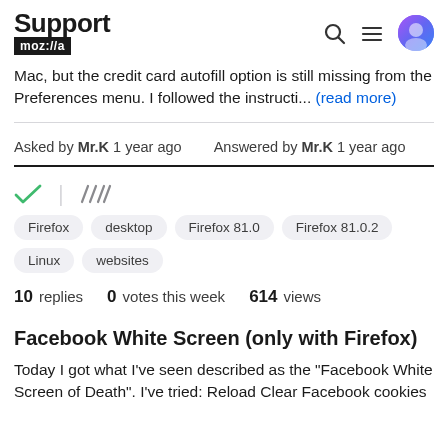Support mozilla//a
Mac, but the credit card autofill option is still missing from the Preferences menu. I followed the instructi... (read more)
Asked by Mr.K 1 year ago   Answered by Mr.K 1 year ago
Firefox  desktop  Firefox 81.0  Firefox 81.0.2  Linux  websites
10 replies  0 votes this week  614 views
Facebook White Screen (only with Firefox)
Today I got what I've seen described as the "Facebook White Screen of Death". I've tried: Reload Clear Facebook cookies